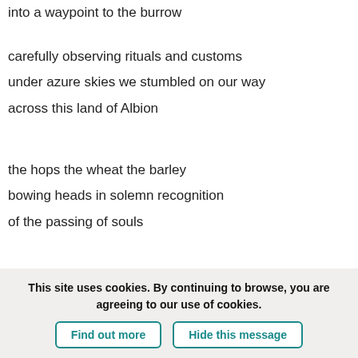into a waypoint to the burrow
carefully observing rituals and customs
under azure skies we stumbled on our way
across this land of Albion
the hops the wheat the barley
bowing heads in solemn recognition
of the passing of souls
as we walked we talked of many things
...
(truncated teal text cut off)
This site uses cookies. By continuing to browse, you are agreeing to our use of cookies.
Find out more | Hide this message